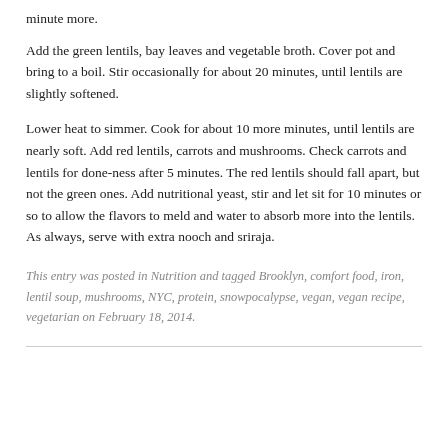minute more.
Add the green lentils, bay leaves and vegetable broth. Cover pot and bring to a boil. Stir occasionally for about 20 minutes, until lentils are slightly softened.
Lower heat to simmer. Cook for about 10 more minutes, until lentils are nearly soft. Add red lentils, carrots and mushrooms. Check carrots and lentils for done-ness after 5 minutes. The red lentils should fall apart, but not the green ones. Add nutritional yeast, stir and let sit for 10 minutes or so to allow the flavors to meld and water to absorb more into the lentils. As always, serve with extra nooch and sriraja.
This entry was posted in Nutrition and tagged Brooklyn, comfort food, iron, lentil soup, mushrooms, NYC, protein, snowpocalypse, vegan, vegan recipe, vegetarian on February 18, 2014.